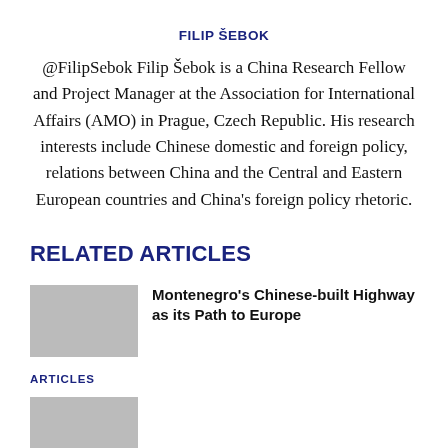FILIP ŠEBOK
@FilipSebok Filip Šebok is a China Research Fellow and Project Manager at the Association for International Affairs (AMO) in Prague, Czech Republic. His research interests include Chinese domestic and foreign policy, relations between China and the Central and Eastern European countries and China's foreign policy rhetoric.
RELATED ARTICLES
Montenegro's Chinese-built Highway as its Path to Europe
ARTICLES